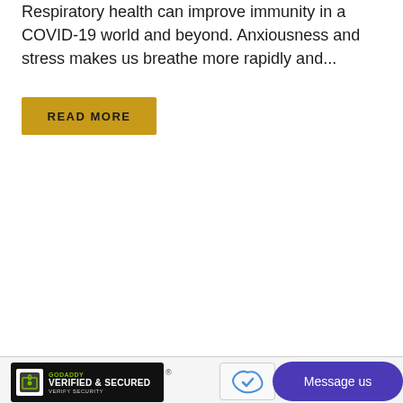Respiratory health can improve immunity in a COVID-19 world and beyond. Anxiousness and stress makes us breathe more rapidly and...
READ MORE
[Figure (screenshot): GoDaddy Verified & Secured badge with lock icon]
Message us